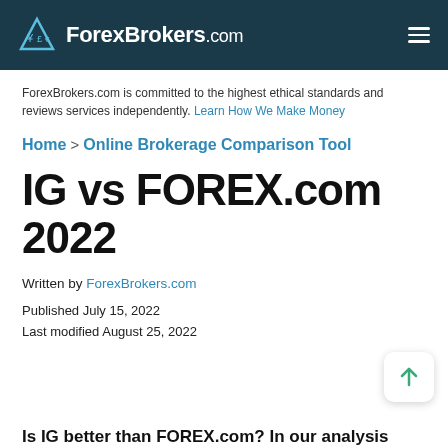ForexBrokers.com
ForexBrokers.com is committed to the highest ethical standards and reviews services independently. Learn How We Make Money
Home > Online Brokerage Comparison Tool
IG vs FOREX.com 2022
Written by ForexBrokers.com
Published July 15, 2022
Last modified August 25, 2022
Is IG better than FOREX.com? In our analysis